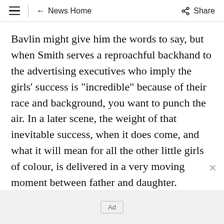≡  ← News Home  Share
Bavlin might give him the words to say, but when Smith serves a reproachful backhand to the advertising executives who imply the girls' success is "incredible" because of their race and background, you want to punch the air. In a later scene, the weight of that inevitable success, when it does come, and what it will mean for all the other little girls of colour, is delivered in a very moving moment between father and daughter.
Ad